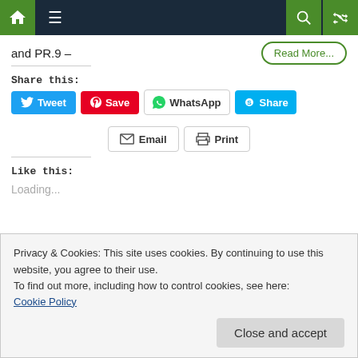Navigation bar with home, menu, search, and shuffle icons
and PR.9 –
Read More...
Share this:
Tweet  Save  WhatsApp  Share  Email  Print
Like this:
Loading...
Privacy & Cookies: This site uses cookies. By continuing to use this website, you agree to their use.
To find out more, including how to control cookies, see here:
Cookie Policy
Close and accept